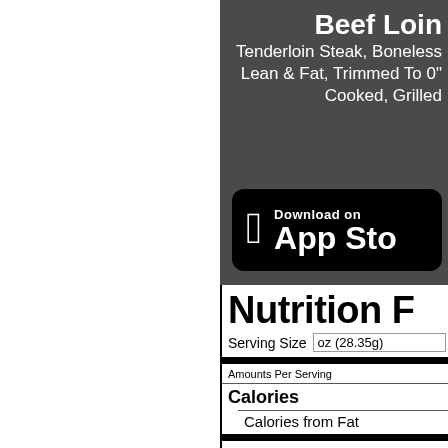Beef Loin
Tenderloin Steak, Boneless Lean & Fat, Trimmed To 0" Cooked, Grilled
[Figure (logo): Download on the App Store button with Apple logo]
Nutrition F[acts]
Serving Size oz (28.35g)
Amounts Per Serving
Calories
Calories from Fat
Total Fat 2g
Saturated Fat 1g